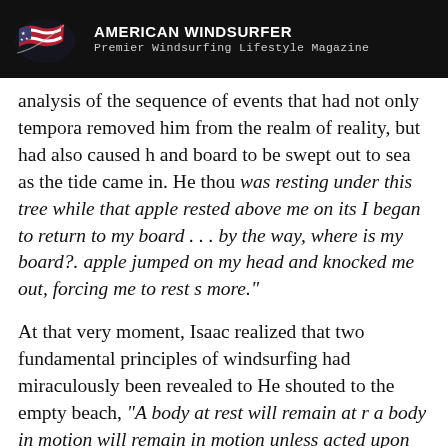AMERICAN WINDSURFER
Premier Windsurfing Lifestyle Magazine
analysis of the sequence of events that had not only temporarily removed him from the realm of reality, but had also caused his sail and board to be swept out to sea as the tide came in. He thought, "I was resting under this tree while that apple rested above me on its branch. I began to return to my board . . . by the way, where is my board?... the apple jumped on my head and knocked me out, forcing me to rest some more."
At that very moment, Isaac realized that two fundamental principles of windsurfing had miraculously been revealed to him. He shouted to the empty beach, "A body at rest will remain at rest and a body in motion will remain in motion unless acted upon by an external force." (Isaac was a pseudo-scientist and talked like that all the time.) It was immediately obvious that his had been the "body" at rest and in motion while the apple must have been the "external force" that acted upon the "body."